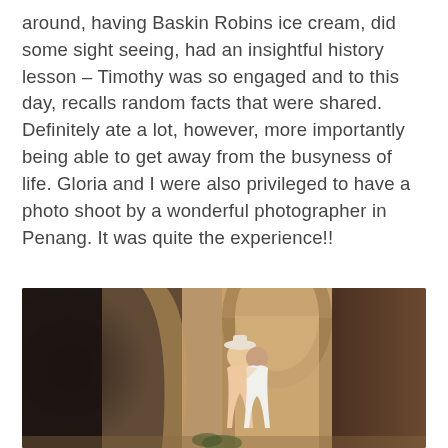around, having Baskin Robins ice cream, did some sight seeing, had an insightful history lesson – Timothy was so engaged and to this day, recalls random facts that were shared. Definitely ate a lot, however, more importantly being able to get away from the busyness of life. Gloria and I were also privileged to have a photo shoot by a wonderful photographer in Penang. It was quite the experience!!
[Figure (photo): A couple embracing in a warmly lit outdoor architectural setting in Penang, with arches and a dark wooden door in the background. Bokeh effect in the foreground.]